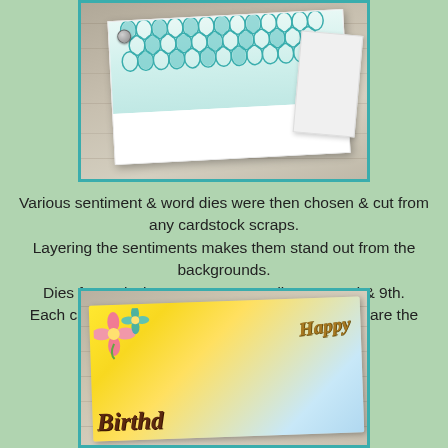[Figure (photo): Close-up photo of a handmade card with teal/turquoise die-cut geometric pattern on white cardstock, placed on a rustic wooden surface. A small metallic button is visible in the corner.]
Various sentiment & word dies were then chosen & cut from any cardstock scraps.
Layering the sentiments makes them stand out from the backgrounds.
Dies from Sizzix, Paper Rose Studio, Concord & 9th.
Each card is all about the layers. Vintage buttons are the only other embellishments.
[Figure (photo): Close-up photo of a Happy Birthday card with colorful floral die-cuts (pink and teal flowers) on a yellow/golden watercolor background with a wooden surface behind it. The words 'Happy Birthday' are visible in ornate brown and teal lettering.]